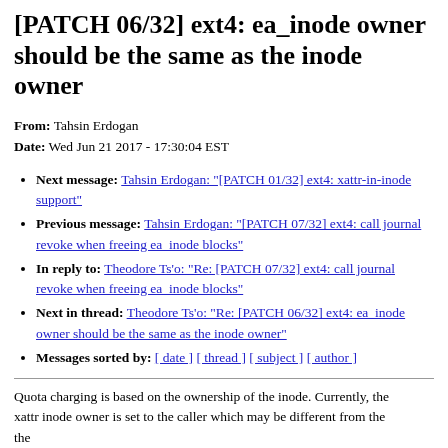[PATCH 06/32] ext4: ea_inode owner should be the same as the inode owner
From: Tahsin Erdogan
Date: Wed Jun 21 2017 - 17:30:04 EST
Next message: Tahsin Erdogan: "[PATCH 01/32] ext4: xattr-in-inode support"
Previous message: Tahsin Erdogan: "[PATCH 07/32] ext4: call journal revoke when freeing ea_inode blocks"
In reply to: Theodore Ts'o: "Re: [PATCH 07/32] ext4: call journal revoke when freeing ea_inode blocks"
Next in thread: Theodore Ts'o: "Re: [PATCH 06/32] ext4: ea_inode owner should be the same as the inode owner"
Messages sorted by: [ date ] [ thread ] [ subject ] [ author ]
Quota charging is based on the ownership of the inode. Currently, the
xattr inode owner is set to the caller which may be different from the